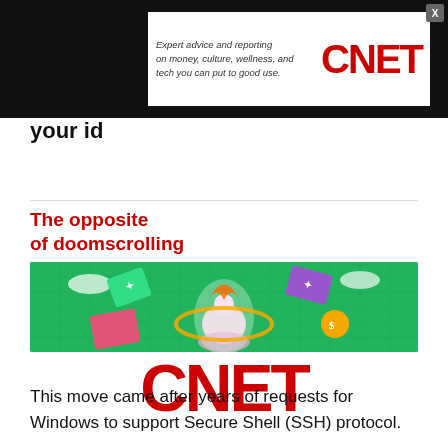[Figure (screenshot): Top ad banner: black background with white inset ad panel containing CNET logo in red and italic text 'Expert advice and reporting on money, culture, wellness, and tech you can put to good use.' with a close button (X) in the upper right.]
your id...
[Figure (infographic): CNET advertisement: red text 'The opposite of doomscrolling', colorful illustration of a meditating figure surrounded by cards and golden swirls on green grid background, large red CNET logo below.]
This move came after years of requests for Windows to support Secure Shell (SSH) protocol.